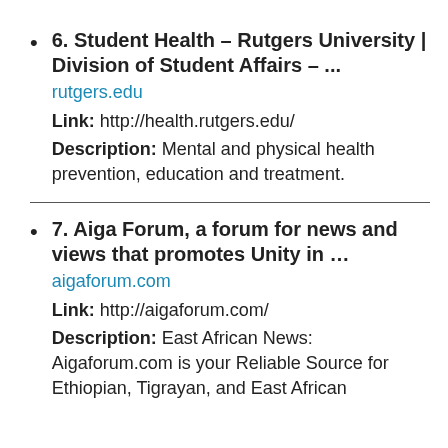6. Student Health – Rutgers University | Division of Student Affairs – ...
rutgers.edu
Link: http://health.rutgers.edu/
Description: Mental and physical health prevention, education and treatment.
7. Aiga Forum, a forum for news and views that promotes Unity in ...
aigaforum.com
Link: http://aigaforum.com/
Description: East African News: Aigaforum.com is your Reliable Source for Ethiopian, Tigrayan, and East African